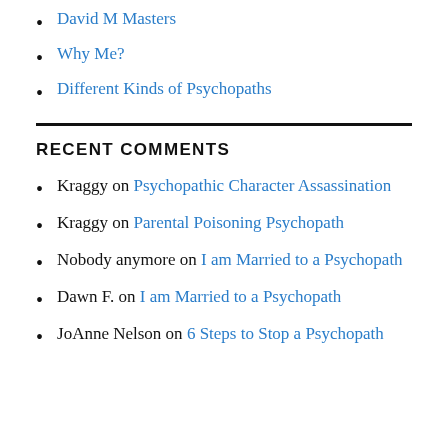David M Masters
Why Me?
Different Kinds of Psychopaths
RECENT COMMENTS
Kraggy on Psychopathic Character Assassination
Kraggy on Parental Poisoning Psychopath
Nobody anymore on I am Married to a Psychopath
Dawn F. on I am Married to a Psychopath
JoAnne Nelson on 6 Steps to Stop a Psychopath